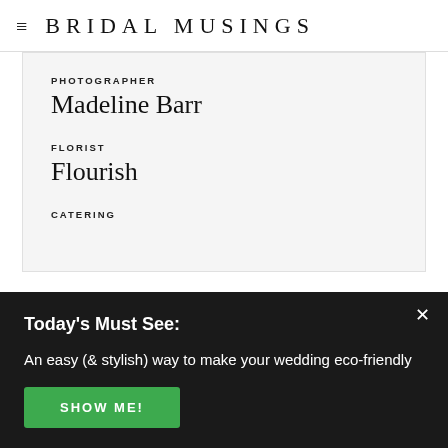BRIDAL MUSINGS
PHOTOGRAPHER
Madeline Barr
FLORIST
Flourish
CATERING
Today's Must See:
An easy (& stylish) way to make your wedding eco-friendly
SHOW ME!